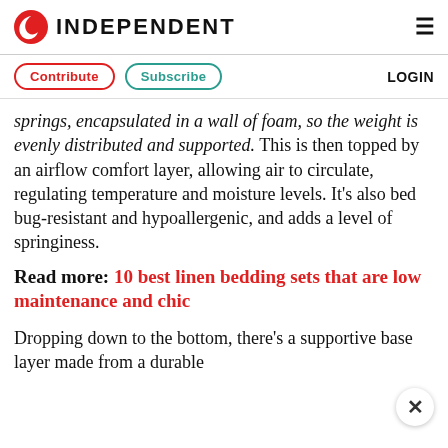INDEPENDENT
Contribute | Subscribe | LOGIN
springs, encapsulated in a wall of foam, so the weight is evenly distributed and supported. This is then topped by an airflow comfort layer, allowing air to circulate, regulating temperature and moisture levels. It's also bed bug-resistant and hypoallergenic, and adds a level of springiness.
Read more: 10 best linen bedding sets that are low maintenance and chic
Dropping down to the bottom, there's a supportive base layer made from a durable